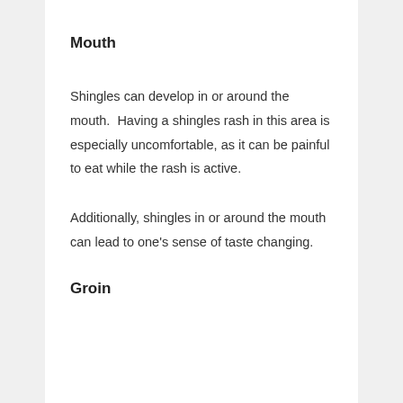Mouth
Shingles can develop in or around the mouth.  Having a shingles rash in this area is especially uncomfortable, as it can be painful to eat while the rash is active.
Additionally, shingles in or around the mouth can lead to one's sense of taste changing.
Groin